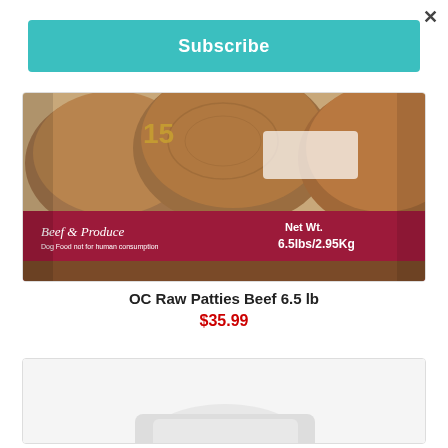×
Subscribe
[Figure (photo): OC Raw Patties Beef 6.5 lb product package showing raw beef patties with a dark red/maroon label reading 'Beef & Produce Dog Food' and 'Net Wt. 6.5lbs/2.95Kg']
OC Raw Patties Beef 6.5 lb
$35.99
[Figure (photo): Partial view of another product (white package/container) at the bottom of the page, cut off]